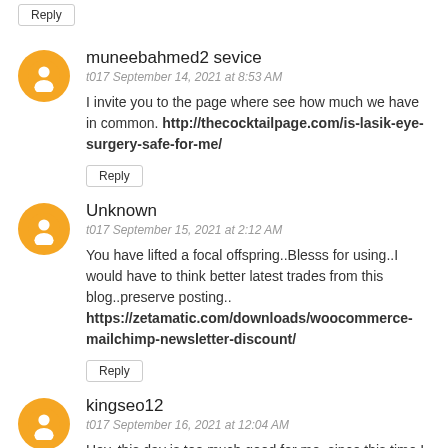Reply
muneebahmed2 sevice
t017 September 14, 2021 at 8:53 AM
I invite you to the page where see how much we have in common. http://thecocktailpage.com/is-lasik-eye-surgery-safe-for-me/
Reply
Unknown
t017 September 15, 2021 at 2:12 AM
You have lifted a focal offspring..Blesss for using..I would have to think better latest trades from this blog..preserve posting.. https://zetamatic.com/downloads/woocommerce-mailchimp-newsletter-discount/
Reply
kingseo12
t017 September 16, 2021 at 12:04 AM
Hey, this day is too much good for me, since this time I am reading this enormous informative article here at my home